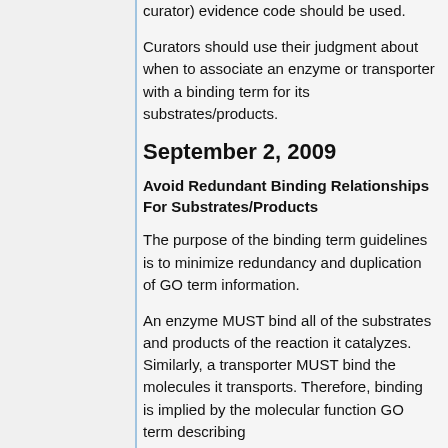curator) evidence code should be used.
Curators should use their judgment about when to associate an enzyme or transporter with a binding term for its substrates/products.
September 2, 2009
Avoid Redundant Binding Relationships For Substrates/Products
The purpose of the binding term guidelines is to minimize redundancy and duplication of GO term information.
An enzyme MUST bind all of the substrates and products of the reaction it catalyzes. Similarly, a transporter MUST bind the molecules it transports. Therefore, binding is implied by the molecular function GO term describing